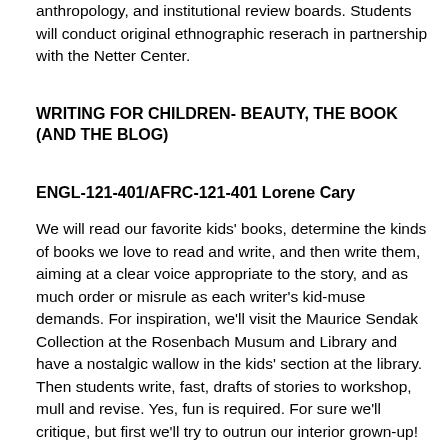anthropology, and institutional review boards. Students will conduct original ethnographic reserach in partnership with the Netter Center.
WRITING FOR CHILDREN- BEAUTY, THE BOOK (AND THE BLOG)
ENGL-121-401/AFRC-121-401 Lorene Cary
We will read our favorite kids' books, determine the kinds of books we love to read and write, and then write them, aiming at a clear voice appropriate to the story, and as much order or misrule as each writer's kid-muse demands. For inspiration, we'll visit the Maurice Sendak Collection at the Rosenbach Musum and Library and have a nostalgic wallow in the kids' section at the library. Then students write, fast, drafts of stories to workshop, mull and revise. Yes, fun is required. For sure we'll critique, but first we'll try to outrun our interior grown-up! Work-shopping happens